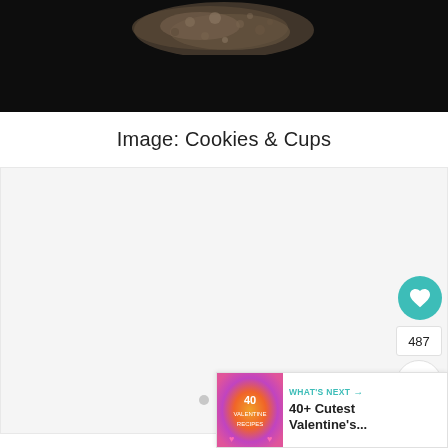[Figure (photo): Dark background photo showing textured cookie or baked good item at the top]
Image: Cookies & Cups
[Figure (other): Advertisement placeholder area with light gray background and three small dots indicating a slideshow or loading indicator]
487
[Figure (other): What's Next widget showing a thumbnail image and text: 40+ Cutest Valentine's...]